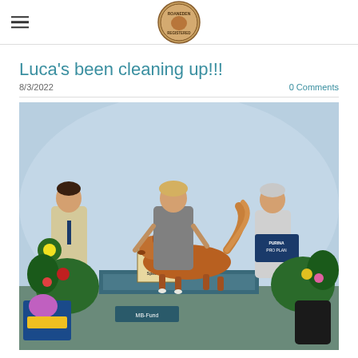Roaneden Registered (logo)
Luca's been cleaning up!!!
8/3/2022
0 Comments
[Figure (photo): A golden/red dog (Nova Scotia Duck Tolling Retriever) standing on a platform at a dog show. Three people stand behind and beside the dog. The man on the left holds a rosette ribbon and a photo. The woman in the middle handles the dog. The woman on the right holds a Purina Pro Plan sign. In front is a 'Best in Specialty Spectacular' trophy/sign and AKC branding on the platform.]